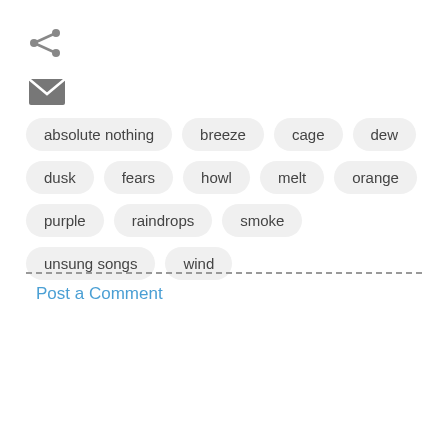[Figure (other): Share icon (less-than symbol shaped share icon) in gray]
[Figure (other): Email/envelope icon in dark gray]
absolute nothing
breeze
cage
dew
dusk
fears
howl
melt
orange
purple
raindrops
smoke
unsung songs
wind
Post a Comment